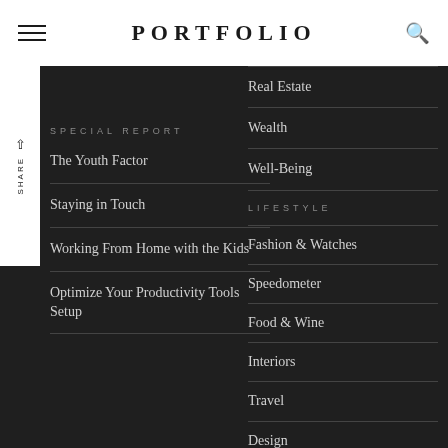PORTFOLIO
SPECIAL REPORT
The Youth Factor
Staying in Touch
Working From Home with the Kids
Optimize Your Productivity Tools Setup
Real Estate
Wealth
Well-Being
LIFESTYLE
Fashion & Watches
Speedometer
Food & Wine
Interiors
Travel
Design
Wellness